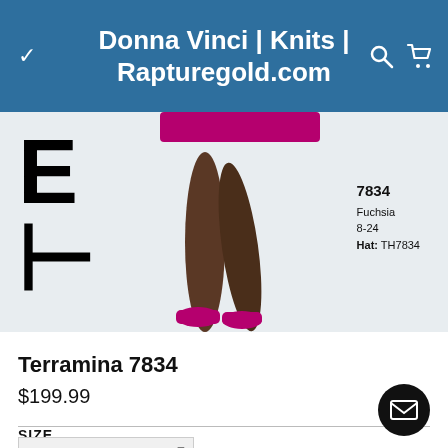Donna Vinci | Knits | Rapturegold.com
[Figure (photo): Product photo showing legs of a model wearing a fuchsia/pink knit dress with matching fuchsia heels. Large letters 'TE' visible on left side. Product code overlay on right: 7834, Fuchsia, 8-24, Hat: TH7834]
Terramina 7834
$199.99
SIZE